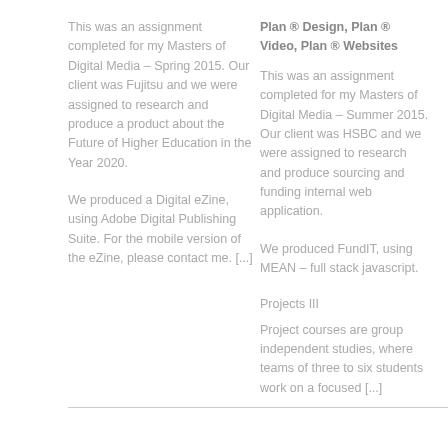This was an assignment completed for my Masters of Digital Media – Spring 2015. Our client was Fujitsu and we were assigned to research and produce a product about the Future of Higher Education in the Year 2020.
We produced a Digital eZine, using Adobe Digital Publishing Suite. For the mobile version of the eZine, please contact me. [...]
Plan ® Design, Plan ® Video, Plan ® Websites
This was an assignment completed for my Masters of Digital Media – Summer 2015. Our client was HSBC and we were assigned to research and produce sourcing and funding internal web application.
We produced FundIT, using MEAN – full stack javascript.
Projects III
Project courses are group independent studies, where teams of three to six students work on a focused [...]